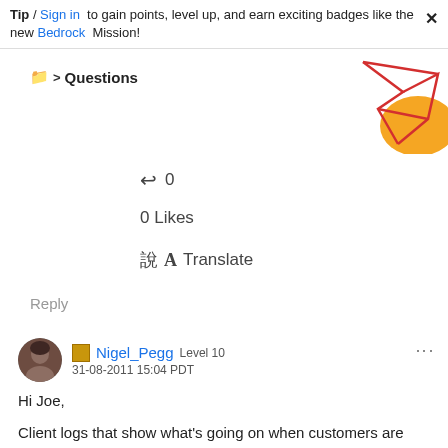Tip / Sign in to gain points, level up, and earn exciting badges like the new Bedrock Mission!
> Questions
↩ 0
0 Likes
Translate
Reply
Nigel_Pegg Level 10
31-08-2011 15:04 PDT
Hi Joe,
Client logs that show what's going on when customers are getting kicked out would be really, really useful.
nigel